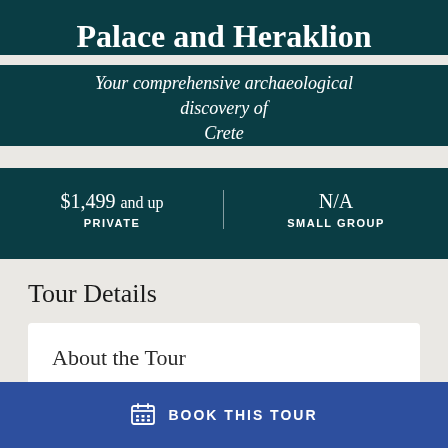Palace and Heraklion
Your comprehensive archaeological discovery of Crete
$1,499 and up PRIVATE | N/A SMALL GROUP
Tour Details
About the Tour
BOOK THIS TOUR